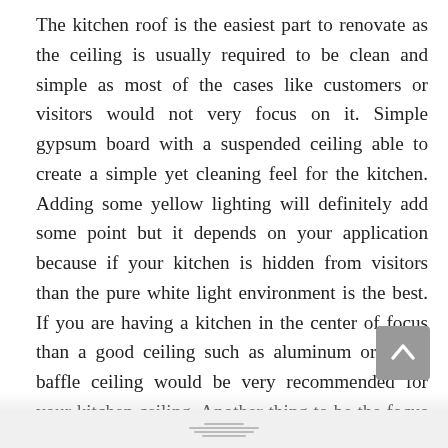The kitchen roof is the easiest part to renovate as the ceiling is usually required to be clean and simple as most of the cases like customers or visitors would not very focus on it. Simple gypsum board with a suspended ceiling able to create a simple yet cleaning feel for the kitchen. Adding some yellow lighting will definitely add some point but it depends on your application because if your kitchen is hidden from visitors than the pure white light environment is the best. If you are having a kitchen in the center of focus than a good ceiling such as aluminum or wood baffle ceiling would be very recommended for your kitchen ceiling. Another thing to be the focus on is the wall of the kitchen...